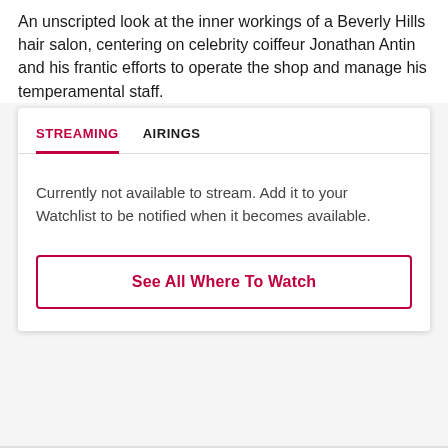An unscripted look at the inner workings of a Beverly Hills hair salon, centering on celebrity coiffeur Jonathan Antin and his frantic efforts to operate the shop and manage his temperamental staff.
STREAMING  AIRINGS
Currently not available to stream. Add it to your Watchlist to be notified when it becomes available.
See All Where To Watch